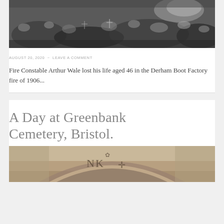[Figure (photo): Black and white historical photograph showing a large crowd of people gathered, likely at a funeral or public event, viewed from above.]
AUGUST 20, 2020  ~  LEAVE A COMMENT
Fire Constable Arthur Wale lost his life aged 46 in the Derham Boot Factory fire of 1906...
A Day at Greenbank Cemetery, Bristol.
[Figure (photo): Photograph of a stone archway entrance with carved lettering, partial text visible appears to be part of 'Greenbank' cemetery entrance.]